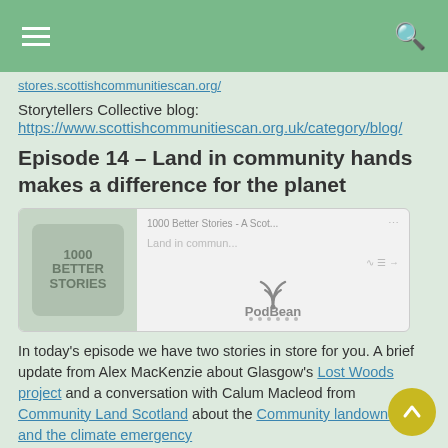Navigation header bar with hamburger menu and search icon
stores.scottishcommunitiescan.org/
Storytellers Collective blog:
https://www.scottishcommunitiescan.org.uk/category/blog/
Episode 14 – Land in community hands makes a difference for the planet
[Figure (screenshot): PodBean podcast player embed showing '1000 Better Stories - A Scot...' and 'Land in commun...' with PodBean logo]
In today's episode we have two stories in store for you. A brief update from Alex MacKenzie about Glasgow's Lost Woods project and a conversation with Calum Macleod from Community Land Scotland about the Community landowners and the climate emergency